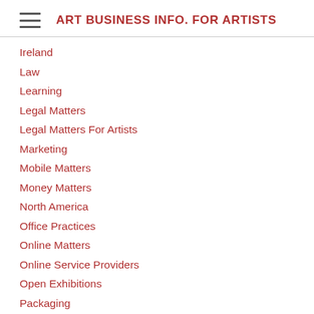ART BUSINESS INFO. FOR ARTISTS
Ireland
Law
Learning
Legal Matters
Legal Matters For Artists
Marketing
Mobile Matters
Money Matters
North America
Office Practices
Online Matters
Online Service Providers
Open Exhibitions
Packaging
Painting
Pandemic
Paperwork